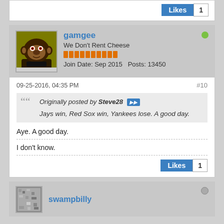Likes 1
[Figure (photo): Forum post by user gamgee with monkey avatar. Username: gamgee. Title: We Don't Rent Cheese. Join Date: Sep 2015. Posts: 13450. Online (green dot).]
09-25-2016, 04:35 PM
#10
Originally posted by Steve28 ▶▶
Jays win, Red Sox win, Yankees lose. A good day.
Aye. A good day.
I don't know.
Likes 1
swampbilly